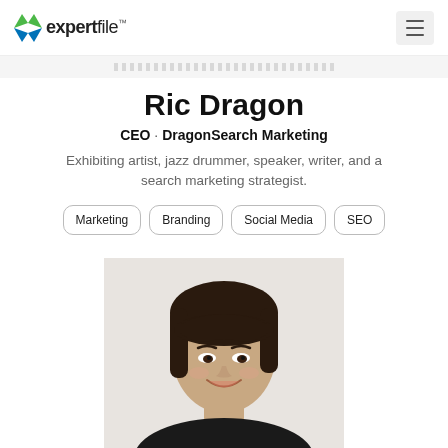expertfile™
Ric Dragon
CEO · DragonSearch Marketing
Exhibiting artist, jazz drummer, speaker, writer, and a search marketing strategist.
Marketing
Branding
Social Media
SEO
[Figure (photo): Headshot photo of a smiling Asian woman with dark hair and bangs]